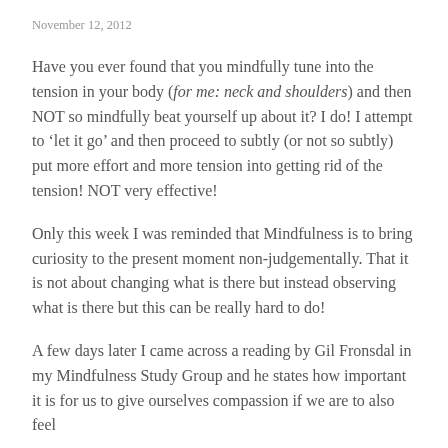November 12, 2012
Have you ever found that you mindfully tune into the tension in your body (for me: neck and shoulders) and then NOT so mindfully beat yourself up about it?  I do!  I attempt to ‘let it go’ and then proceed to subtly (or not so subtly) put more effort and more tension into getting rid of the tension!  NOT very effective!
Only this week I was reminded that Mindfulness is to bring curiosity to the present moment non-judgementally.  That it is not about changing what is there but instead observing what is there but this can be really hard to do!
A few days later I came across a reading by Gil Fronsdal in my Mindfulness Study Group and he states how important it is for us to give ourselves compassion if we are to also feel